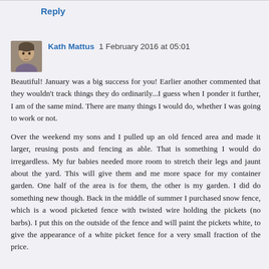Reply
Kath Mattus  1 February 2016 at 05:01
Beautiful! January was a big success for you! Earlier another commented that they wouldn't track things they do ordinarily...I guess when I ponder it further, I am of the same mind. There are many things I would do, whether I was going to work or not.

Over the weekend my sons and I pulled up an old fenced area and made it larger, reusing posts and fencing as able. That is something I would do irregardless. My fur babies needed more room to stretch their legs and jaunt about the yard. This will give them and me more space for my container garden. One half of the area is for them, the other is my garden. I did do something new though. Back in the middle of summer I purchased snow fence, which is a wood picketed fence with twisted wire holding the pickets (no barbs). I put this on the outside of the fence and will paint the pickets white, to give the appearance of a white picket fence for a very small fraction of the price.